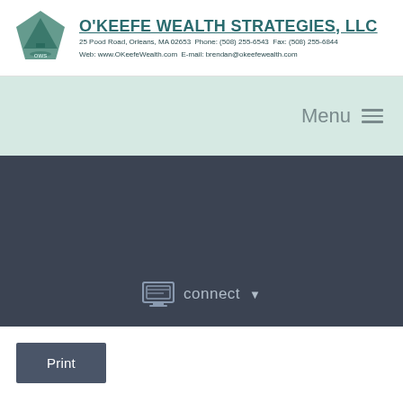[Figure (logo): O'Keefe Wealth Strategies LLC diamond-shaped sailboat logo in teal/green]
O'KEEFE WEALTH STRATEGIES, LLC
25 Pood Road, Orleans, MA 02653  Phone: (508) 255-6543  Fax: (508) 255-6844
Web: www.OKeefeWealth.com  E-mail: brendan@okeefewealth.com
[Figure (screenshot): Light teal navigation bar with Menu and hamburger icon on right]
[Figure (screenshot): Dark slate banner with monitor/connect icon and 'connect' dropdown]
Print
What Stock and Bond